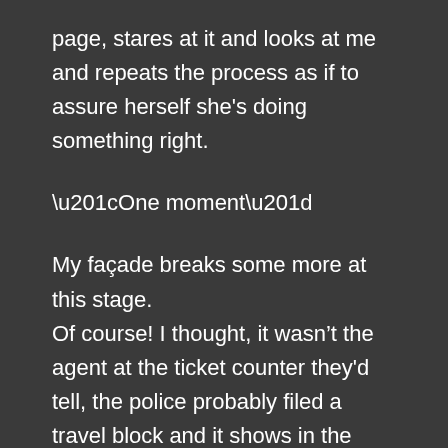page, stares at it and looks at me and repeats the process as if to assure herself she's doing something right.
“One moment”
My façade breaks some more at this stage. Of course! I thought, it wasn't the agent at the ticket counter they'd tell, the police probably filed a travel block and it shows in the system
I'm fucked
A man is called and he comes towards us, she